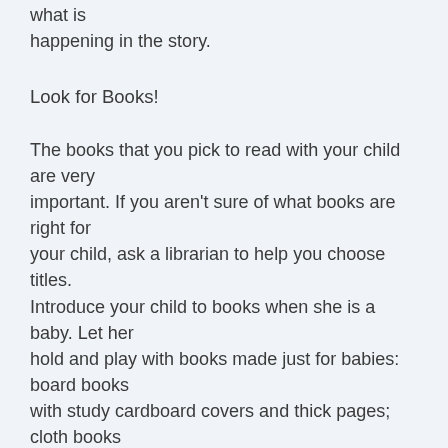what is happening in the story.
Look for Books!
The books that you pick to read with your child are very important. If you aren't sure of what books are right for your child, ask a librarian to help you choose titles. Introduce your child to books when she is a baby. Let her hold and play with books made just for babies: board books with study cardboard covers and thick pages; cloth books that are soft and washable, touch-and-feel books,